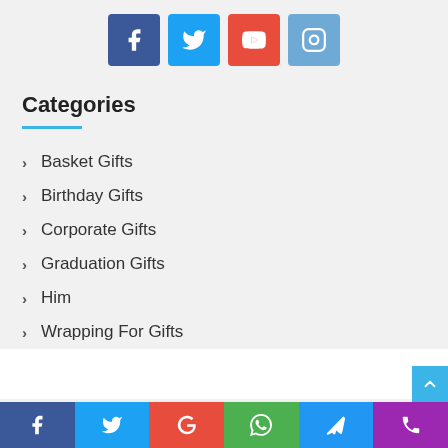[Figure (other): Social media icons row: Facebook (blue), Twitter (light blue), YouTube (red), Instagram (light blue)]
Categories
Basket Gifts
Birthday Gifts
Corporate Gifts
Graduation Gifts
Him
Wrapping For Gifts
© Copyright 2022 GiftsMaps.com, All images are copyrighted by the
[Figure (other): Bottom social sharing bar with icons: Facebook, Twitter, Google, WhatsApp, Telegram, Phone/RSS]